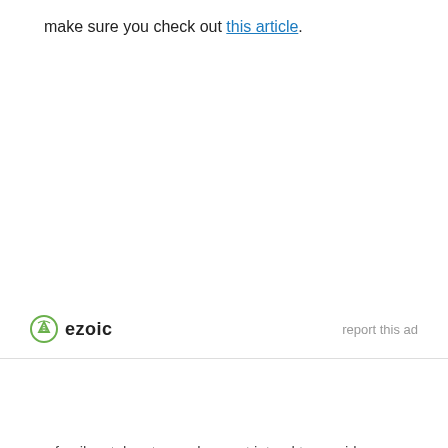make sure you check out this article.
[Figure (logo): Ezoic logo with green circular icon and bold 'ezoic' text, with 'report this ad' link on the right]
Privacy Policy   Terms and Conditions
© 2022 Copyright Family Pet Planet
familypetplanet.com does not intend to provide any veterinary or medical suggestion. The content of this